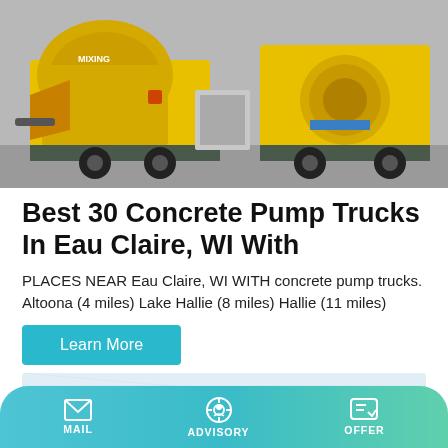[Figure (photo): Yellow concrete pump truck and mixing equipment on a job site]
Best 30 Concrete Pump Trucks In Eau Claire, WI With
PLACES NEAR Eau Claire, WI WITH concrete pump trucks. Altoona (4 miles) Lake Hallie (8 miles) Hallie (11 miles)
[Figure (photo): Partial view of a building exterior with a person partially visible at the bottom]
MAIL   ADVISORY   OFFER